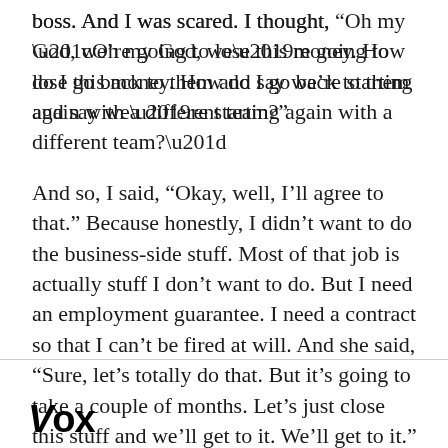boss. And I was scared. I thought, “Oh my God, we’re going to lose this money. How do I go back to them and say we’re starting again with a different team?”
And so, I said, “Okay, well, I’ll agree to that.” Because honestly, I didn’t want to do the business-side stuff. Most of that job is actually stuff I don’t want to do. But I need an employment guarantee. I need a contract so that I can’t be fired at will. And she said, “Sure, let’s totally do that. But it’s going to take a couple of months. Let’s just close this stuff and we’ll get to it. We’ll get to it.” And we never got to it.
Vox